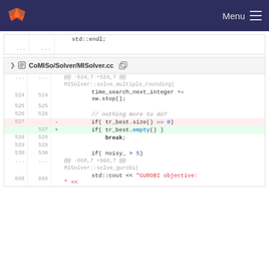GitLab logo | Menu
std::endl;
...	...
CoMISo/Solver/MISolver.cc
@@ -524,7 +524,7 @@
MISolver::solve_multiple_rounding(
524	524	time_search_next_integer += sw.stop();
525	525
526	526	// nothing more to do?
527	-	if( tr_best.size() == 0)
	527	+	if( tr_best.empty() )
528	528		break;
529	529
530	530	if( noisy_ > 5)
...	...	@@ -668,7 +668,7 @@ MISolver::solve_gurobi(
668	668	std::cout << "GUROBI objective: " <<